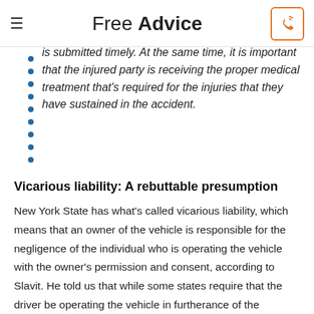Free Advice
is submitted timely. At the same time, it is important that the injured party is receiving the proper medical treatment that's required for the injuries that they have sustained in the accident.
Vicarious liability: A rebuttable presumption
New York State has what's called vicarious liability, which means that an owner of the vehicle is responsible for the negligence of the individual who is operating the vehicle with the owner's permission and consent, according to Slavit. He told us that while some states require that the driver be operating the vehicle in furtherance of the business of the owner or some other more restrictive limitation, New York is different. “In New York, as long as